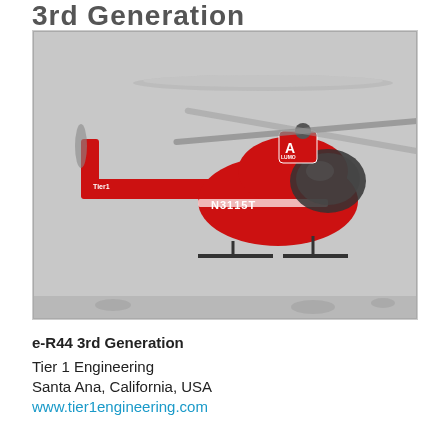3rd Generation
[Figure (photo): Red Robinson R44 helicopter with registration N3115T in flight against a grey sky. The helicopter is red with white text markings and a logo on the tail fin. It appears to be a 2-4 seat light utility helicopter with skid landing gear.]
e-R44 3rd Generation
Tier 1 Engineering
Santa Ana, California, USA
www.tier1engineering.com